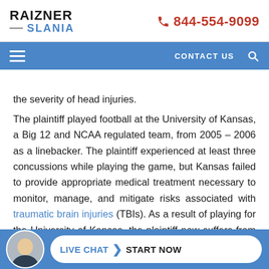RAIZNER SLANIA | 844-554-9099
the severity of head injuries.
The plaintiff played football at the University of Kansas, a Big 12 and NCAA regulated team, from 2005 – 2006 as a linebacker. The plaintiff experienced at least three concussions while playing the game, but Kansas failed to provide appropriate medical treatment necessary to monitor, manage, and mitigate risks associated with traumatic brain injuries (TBIs). As a result of playing for the University of Kansas, the plaintiff now suffers from severe depres... mo... the ... bilitating